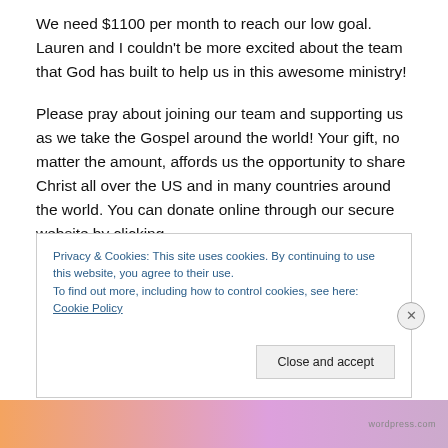We need $1100 per month to reach our low goal. Lauren and I couldn't be more excited about the team that God has built to help us in this awesome ministry!
Please pray about joining our team and supporting us as we take the Gospel around the world! Your gift, no matter the amount, affords us the opportunity to share Christ all over the US and in many countries around the world. You can donate online through our secure website by clicking
Privacy & Cookies: This site uses cookies. By continuing to use this website, you agree to their use.
To find out more, including how to control cookies, see here: Cookie Policy
Close and accept